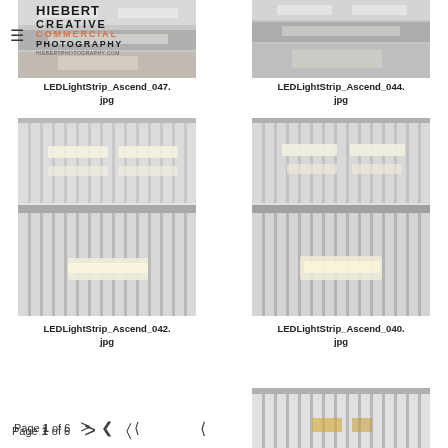[Figure (photo): Partial view of LED light strip product photo - LEDLightStrip_Ascend_047.jpg]
LEDLightStrip_Ascend_047.jpg
[Figure (photo): Partial view of LED light strip product photo - LEDLightStrip_Ascend_044.jpg]
LEDLightStrip_Ascend_044.jpg
[Figure (photo): LED light strip product photo - LEDLightStrip_Ascend_042.jpg]
LEDLightStrip_Ascend_042.jpg
[Figure (photo): LED light strip product photo - LEDLightStrip_Ascend_040.jpg]
LEDLightStrip_Ascend_040.jpg
[Figure (photo): Partial view of LED light strip product photo at bottom right]
Page 1 of 6